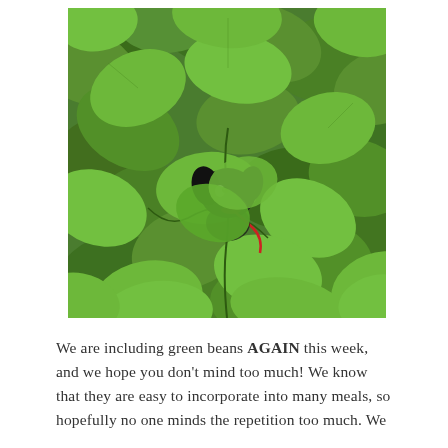[Figure (photo): A black dog with a red leash partially hidden among dense green bean plant leaves and vines outdoors.]
We are including green beans AGAIN this week, and we hope you don't mind too much! We know that they are easy to incorporate into many meals, so hopefully no one minds the repetition too much. We